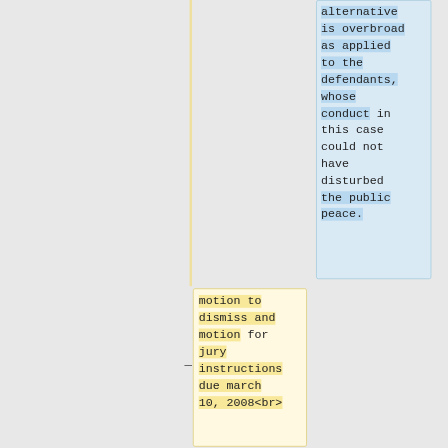alternative is overbroad as applied to the defendants, whose conduct in this case could not have disturbed the public peace.
motion to dismiss and motion for jury instructions due march 10, 2008<br>